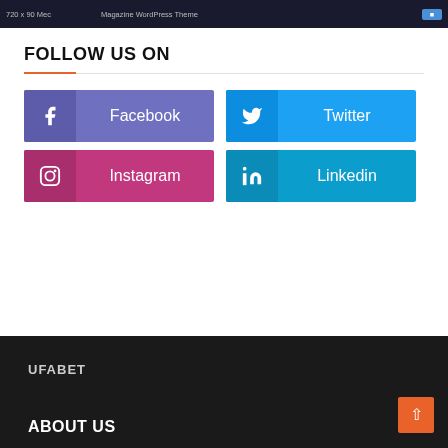[Figure (screenshot): Top banner with ad text '720 x 90 Mec', 'Magazine WordPress Theme', and a blue button]
FOLLOW US ON
[Figure (infographic): Social media buttons: Facebook (purple), Twitter (blue), Instagram (pink), Linkedin (blue)]
UFABET
ABOUT US